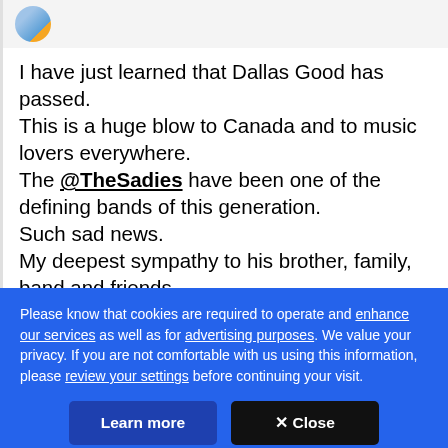[Figure (screenshot): Twitter/social media post header with avatar icon and partially visible username]
I have just learned that Dallas Good has passed.
This is a huge blow to Canada and to music lovers everywhere.
The @TheSadies have been one of the defining bands of this generation.
Such sad news.
My deepest sympathy to his brother, family, band and friends.
Please know that cookies are required to operate and enhance our services as well as for advertising purposes. We value your privacy. If you are not comfortable with us using this information, please review your settings before continuing your visit.
Learn more
✕ Close